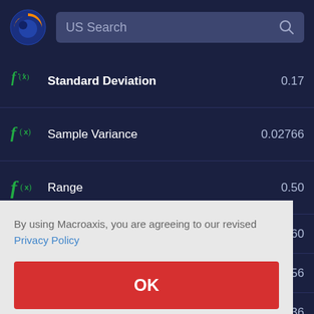[Figure (screenshot): Macroaxis app header with logo and US Search bar]
| Function | Metric | Value |
| --- | --- | --- |
| f(x) | Standard Deviation | 0.17 |
| f(x) | Sample Variance | 0.02766 |
| f(x) | Range | 0.50 |
| f(x) |  | 0.60 |
| f(x) |  | 9456 |
| f(x) |  | 0.36 |
| f(x) |  | 1581 |
By using Macroaxis, you are agreeing to our revised Privacy Policy
OK